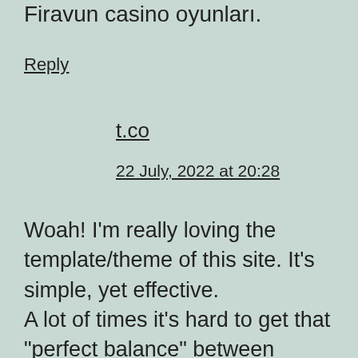Firavun casino oyunları.
Reply
t.co
22 July, 2022 at 20:28
Woah! I'm really loving the template/theme of this site. It's simple, yet effective. A lot of times it's hard to get that "perfect balance" between usability and visual appeal. I must say that you've done a very good job with this. In addition, the blog loads super